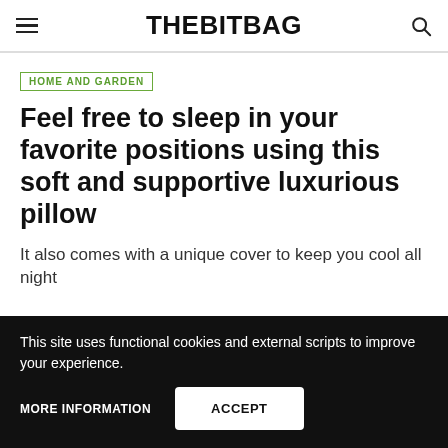THEBITBAG
HOME AND GARDEN
Feel free to sleep in your favorite positions using this soft and supportive luxurious pillow
It also comes with a unique cover to keep you cool all night
This site uses functional cookies and external scripts to improve your experience.
MORE INFORMATION
ACCEPT